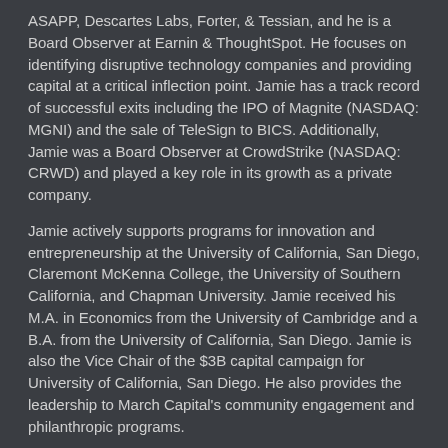ASAPP, Descartes Labs, Forter, & Tessian, and he is a Board Observer at Earnin & ThoughtSpot. He focuses on identifying disruptive technology companies and providing capital at a critical inflection point. Jamie has a track record of successful exits including the IPO of Magnite (NASDAQ: MGNI) and the sale of TeleSign to BICS. Additionally, Jamie was a Board Observer at CrowdStrike (NASDAQ: CRWD) and played a key role in its growth as a private company.
Jamie actively supports programs for innovation and entrepreneurship at the University of California, San Diego, Claremont McKenna College, the University of Southern California, and Chapman University. Jamie received his M.A. in Economics from the University of Cambridge and a B.A. from the University of California, San Diego. Jamie is also the Vice Chair of the $3B capital campaign for University of California, San Diego. He also provides the leadership to March Capital's community engagement and philanthropic programs.
Current Investments: ASAPP, Descartes Labs, Earnin,